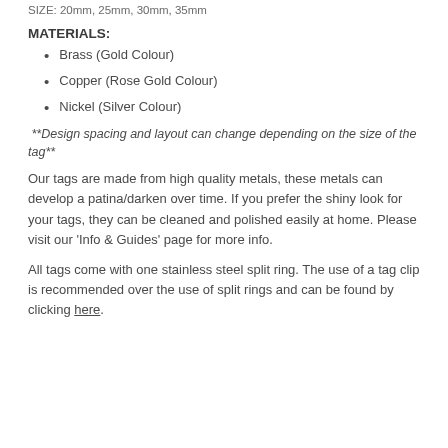SIZE: 20mm, 25mm, 30mm, 35mm
MATERIALS:
Brass (Gold Colour)
Copper (Rose Gold Colour)
Nickel (Silver Colour)
**Design spacing and layout can change depending on the size of the tag**
Our tags are made from high quality metals, these metals can develop a patina/darken over time. If you prefer the shiny look for your tags, they can be cleaned and polished easily at home. Please visit our 'Info & Guides' page for more info.
All tags come with one stainless steel split ring. The use of a tag clip is recommended over the use of split rings and can be found by clicking here.